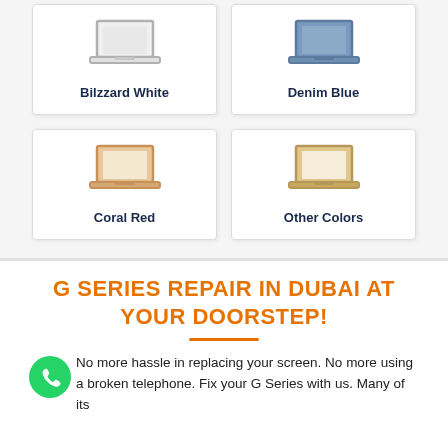[Figure (infographic): Two laptop color option cards arranged in a 2x2 grid. Top row: 'Bilzzard White' and 'Denim Blue' cards. Bottom row: 'Coral Red' and 'Other Colors' cards. Each card contains a laptop icon and color label.]
G SERIES REPAIR IN DUBAI AT YOUR DOORSTEP!
No more hassle in replacing your screen. No more using a broken telephone. Fix your G Series with us. Many of its